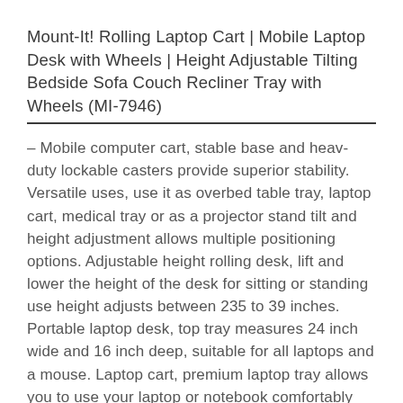Mount-It! Rolling Laptop Cart | Mobile Laptop Desk with Wheels | Height Adjustable Tilting Bedside Sofa Couch Recliner Tray with Wheels (MI-7946)
– Mobile computer cart, stable base and heav-duty lockable casters provide superior stability. Versatile uses, use it as overbed table tray, laptop cart, medical tray or as a projector stand tilt and height adjustment allows multiple positioning options. Adjustable height rolling desk, lift and lower the height of the desk for sitting or standing use height adjusts between 235 to 39 inches. Portable laptop desk, top tray measures 24 inch wide and 16 inch deep, suitable for all laptops and a mouse. Laptop cart, premium laptop tray allows you to use your laptop or notebook comfortably wherever you like.